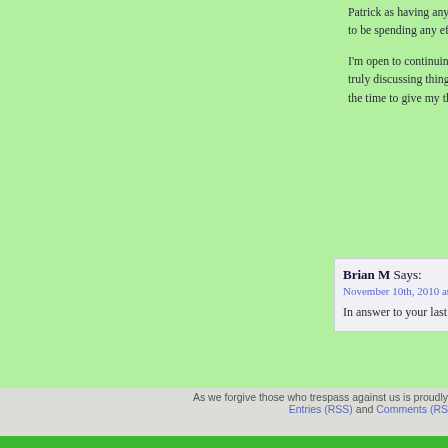Patrick as having any interest in gaining from my perspect... to be spending any effort to absorb what I'm saying, just to tr...
I'm open to continuing to discuss these matters, but not if... truly discussing things, not just shotgunning your way thro... the time to give my thoughts some reasonable reflection.
Brian M Says:
November 10th, 2010 at 7:32 pm
In answer to your last question, I was honestly hoping for a r...
Ken Crawford Says:
November 10th, 2010 at 7:41 pm
Well, I apologize for not being able to provide it. I don't kno... if we could have an interesting conversation over a beer, but... good dialogue when two people are of such different min... very difficult to establish from which to build from.
As we forgive those who trespass against us is proudly... Entries (RSS) and Comments (RS...